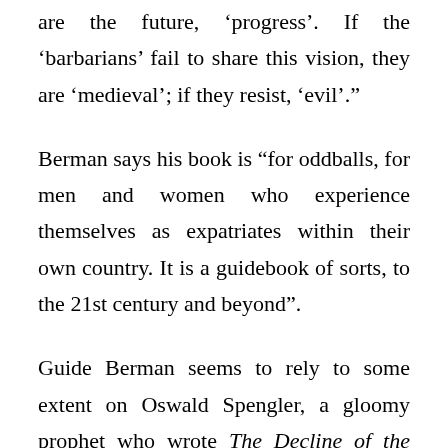are the future, 'progress'. If the 'barbarians' fail to share this vision, they are 'medieval'; if they resist, 'evil'."
Berman says his book is “for oddballs, for men and women who experience themselves as expatriates within their own country. It is a guidebook of sorts, to the 21st century and beyond”.
Guide Berman seems to rely to some extent on Oswald Spengler, a gloomy prophet who wrote The Decline of the West after World War I. He develops Spengler’s view that every civilisation has its twilight period.